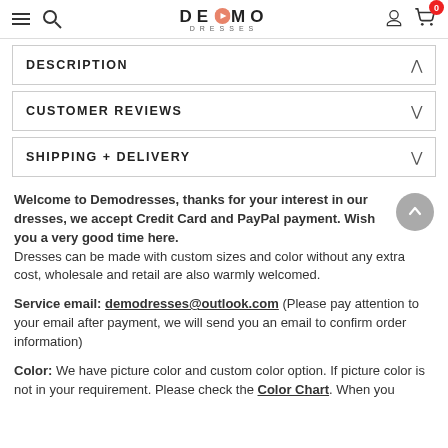DE MO DRESSES — navigation header with hamburger, search, logo, user, cart icons
DESCRIPTION
CUSTOMER REVIEWS
SHIPPING + DELIVERY
Welcome to Demodresses, thanks for your interest in our dresses, we accept Credit Card and PayPal payment. Wish you a very good time here. Dresses can be made with custom sizes and color without any extra cost, wholesale and retail are also warmly welcomed.
Service email: demodresses@outlook.com (Please pay attention to your email after payment, we will send you an email to confirm order information)
Color: We have picture color and custom color option. If picture color is not in your requirement. Please check the Color Chart. When you